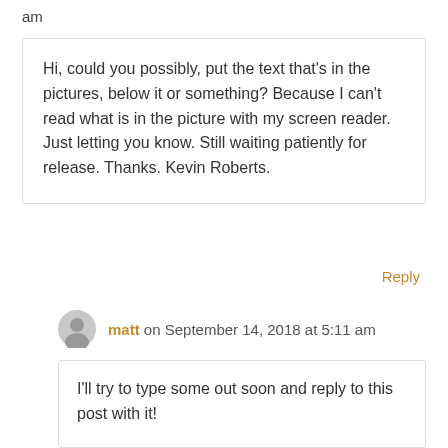am
Hi, could you possibly, put the text that's in the pictures, below it or something? Because I can't read what is in the picture with my screen reader. Just letting you know. Still waiting patiently for release. Thanks. Kevin Roberts.
Reply
matt on September 14, 2018 at 5:11 am
I'll try to type some out soon and reply to this post with it!
Reply